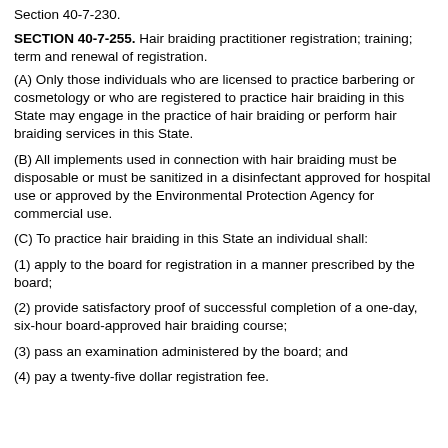Section 40-7-230.
SECTION 40-7-255. Hair braiding practitioner registration; training; term and renewal of registration.
(A) Only those individuals who are licensed to practice barbering or cosmetology or who are registered to practice hair braiding in this State may engage in the practice of hair braiding or perform hair braiding services in this State.
(B) All implements used in connection with hair braiding must be disposable or must be sanitized in a disinfectant approved for hospital use or approved by the Environmental Protection Agency for commercial use.
(C) To practice hair braiding in this State an individual shall:
(1) apply to the board for registration in a manner prescribed by the board;
(2) provide satisfactory proof of successful completion of a one-day, six-hour board-approved hair braiding course;
(3) pass an examination administered by the board; and
(4) pay a twenty-five dollar registration fee.